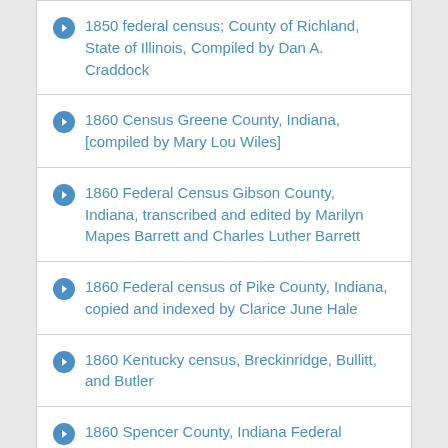1850 federal census; County of Richland, State of Illinois, Compiled by Dan A. Craddock
1860 Census Greene County, Indiana, [compiled by Mary Lou Wiles]
1860 Federal Census Gibson County, Indiana, transcribed and edited by Marilyn Mapes Barrett and Charles Luther Barrett
1860 Federal census of Pike County, Indiana, copied and indexed by Clarice June Hale
1860 Kentucky census, Breckinridge, Bullitt, and Butler
1860 Spencer County, Indiana Federal Census, transcribed by Sharon Patmore, Kristine Manley